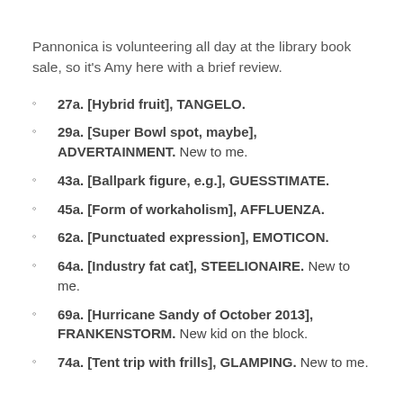Pannonica is volunteering all day at the library book sale, so it's Amy here with a brief review.
27a. [Hybrid fruit], TANGELO.
29a. [Super Bowl spot, maybe], ADVERTAINMENT. New to me.
43a. [Ballpark figure, e.g.], GUESSTIMATE.
45a. [Form of workaholism], AFFLUENZA.
62a. [Punctuated expression], EMOTICON.
64a. [Industry fat cat], STEELIONAIRE. New to me.
69a. [Hurricane Sandy of October 2013], FRANKENSTORM. New kid on the block.
74a. [Tent trip with frills], GLAMPING. New to me.